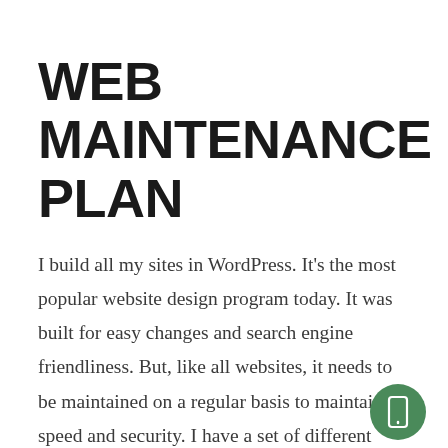WEB MAINTENANCE PLAN
I build all my sites in WordPress. It's the most popular website design program today. It was built for easy changes and search engine friendliness. But, like all websites, it needs to be maintained on a regular basis to maintain its speed and security. I have a set of different levels of